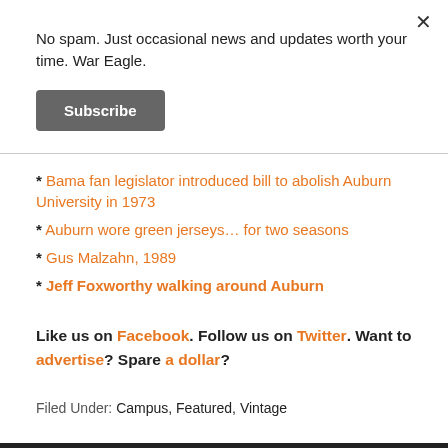No spam. Just occasional news and updates worth your time. War Eagle.
Subscribe
* Bama fan legislator introduced bill to abolish Auburn University in 1973
* Auburn wore green jerseys… for two seasons
* Gus Malzahn, 1989
* Jeff Foxworthy walking around Auburn
Like us on Facebook. Follow us on Twitter. Want to advertise? Spare a dollar?
Filed Under: Campus, Featured, Vintage